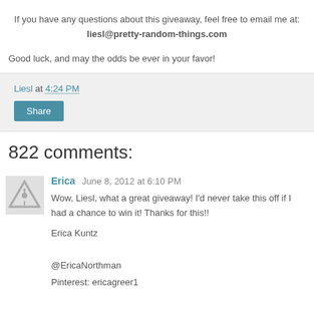If you have any questions about this giveaway, feel free to email me at: liesl@pretty-random-things.com
Good luck, and may the odds be ever in your favor!
Liesl at 4:24 PM
Share
822 comments:
Erica June 8, 2012 at 6:10 PM
Wow, Liesl, what a great giveaway! I'd never take this off if I had a chance to win it! Thanks for this!!
Erica Kuntz
@EricaNorthman
Pinterest: ericagreer1